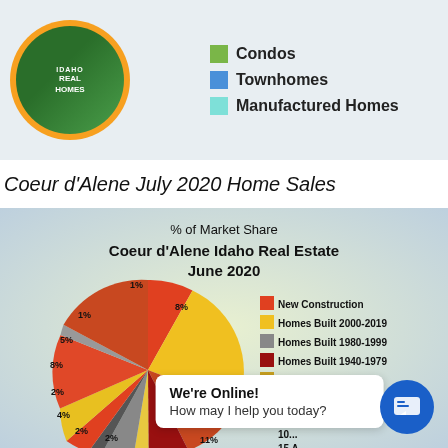[Figure (logo): Idaho Real Homes logo in orange circle with green landscape background]
Condos
Townhomes
Manufactured Homes
Coeur d'Alene July 2020 Home Sales
[Figure (pie-chart): % of Market Share Coeur d'Alene Idaho Real Estate June 2020]